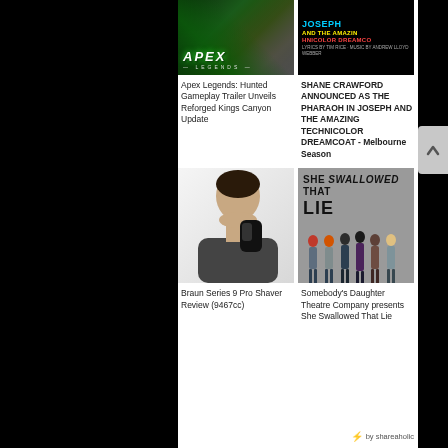[Figure (photo): Apex Legends Hunted promotional image with game logo on green/dark background]
Apex Legends: Hunted Gameplay Trailer Unveils Reforged Kings Canyon Update
[Figure (photo): Joseph and the Amazing Technicolor Dreamcoat colorful title text on black background]
SHANE CRAWFORD ANNOUNCED AS THE PHARAOH IN JOSEPH AND THE AMAZING TECHNICOLOR DREAMCOAT - Melbourne Season
[Figure (photo): Man using Braun Series 9 Pro electric shaver on white background]
Braun Series 9 Pro Shaver Review (9467cc)
[Figure (photo): Group of people standing in front of wall reading SHE SWALLOWED THAT LIE]
Somebody's Daughter Theatre Company presents She Swallowed That Lie
⚡ by shareaholic